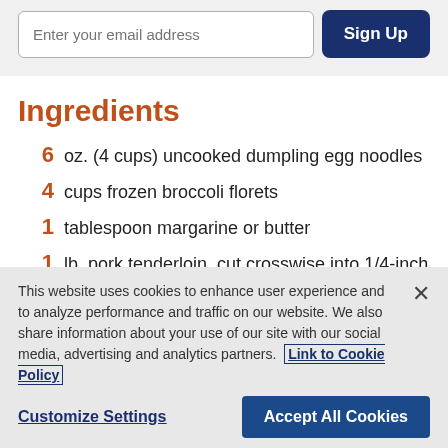Enter your email address
Ingredients
6 oz. (4 cups) uncooked dumpling egg noodles
4 cups frozen broccoli florets
1 tablespoon margarine or butter
1 lb. pork tenderloin, cut crosswise into 1/4-inch
This website uses cookies to enhance user experience and to analyze performance and traffic on our website. We also share information about your use of our site with our social media, advertising and analytics partners. Link to Cookie Policy
Customize Settings
Accept All Cookies